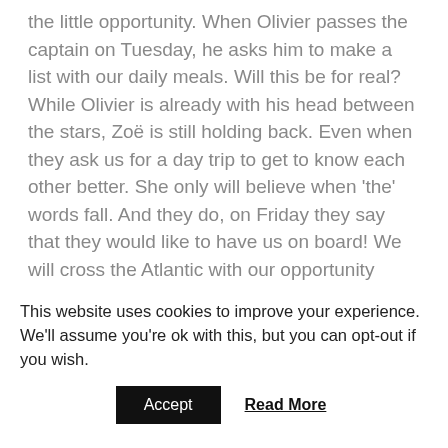the little opportunity. When Olivier passes the captain on Tuesday, he asks him to make a list with our daily meals. Will this be for real? While Olivier is already with his head between the stars, Zoë is still holding back. Even when they ask us for a day trip to get to know each other better. She only will believe when 'the' words fall. And they do, on Friday they say that they would like to have us on board! We will cross the Atlantic with our opportunity Jatinga!
[Figure (photo): A dark photograph strip partially visible behind a golden/amber colored bar background section.]
This website uses cookies to improve your experience. We'll assume you're ok with this, but you can opt-out if you wish.
Accept   Read More